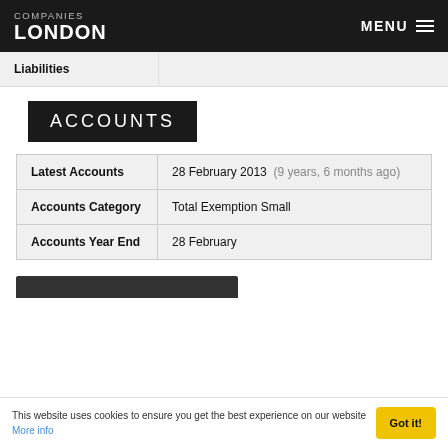COMPANIES LONDON  MENU
|  |  |
| --- | --- |
| Liabilities |  |
ACCOUNTS
| Latest Accounts | 28 February 2013  (9 years, 6 months ago) |
| Accounts Category | Total Exemption Small |
| Accounts Year End | 28 February |
This website uses cookies to ensure you get the best experience on our website More info
Got it!